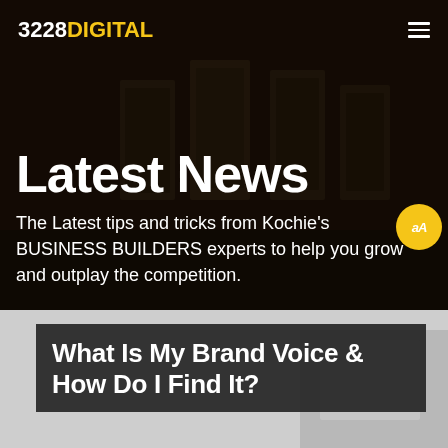3228DIGITAL
Latest News
The Latest tips and tricks from Kochie's BUSINESS BUILDERS experts to help you grow and outplay the competition.
What Is My Brand Voice & How Do I Find It?